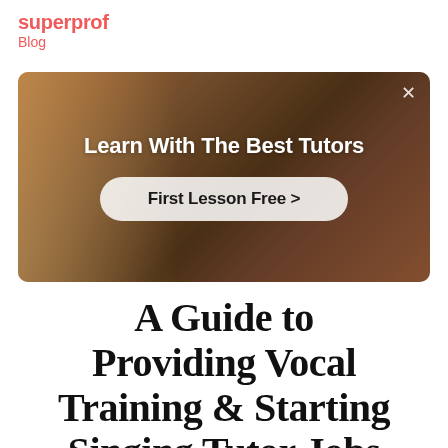superprof
Blog
[Figure (photo): Advertisement banner with a person dancing/moving in a warm-lit room. Text overlay reads 'Learn With The Best Tutors' with a button 'First Lesson Free >']
A Guide to Providing Vocal Training & Starting Singing Tutor Jobs